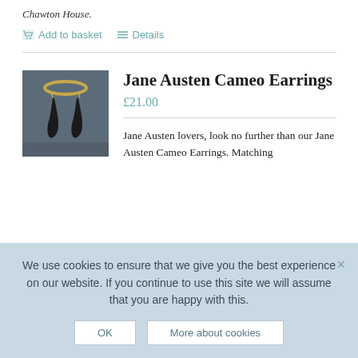Chawton House.
Add to basket   Details
[Figure (photo): Photo of Jane Austen Cameo Earrings hanging against a dark metallic background]
Jane Austen Cameo Earrings
£21.00
Jane Austen lovers, look no further than our Jane Austen Cameo Earrings. Matching
We use cookies to ensure that we give you the best experience on our website. If you continue to use this site we will assume that you are happy with this.
OK   More about cookies